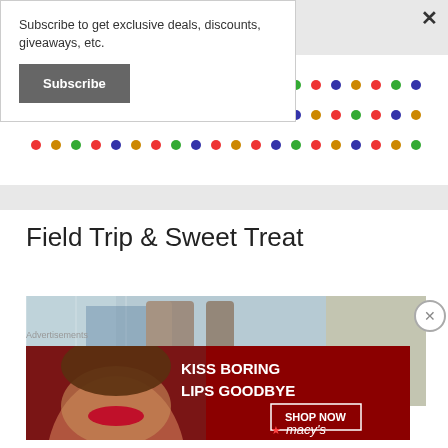Subscribe to get exclusive deals, discounts, giveaways, etc.
Subscribe
[Figure (photo): Polka dot pattern image with colorful dots on white background, partially visible at top]
Field Trip & Sweet Treat
[Figure (photo): Popsicle sticks image, partially cropped, colorful background]
Advertisements
[Figure (photo): Macy's ad banner: KISS BORING LIPS GOODBYE with SHOP NOW button and Macy's star logo on dark red background]